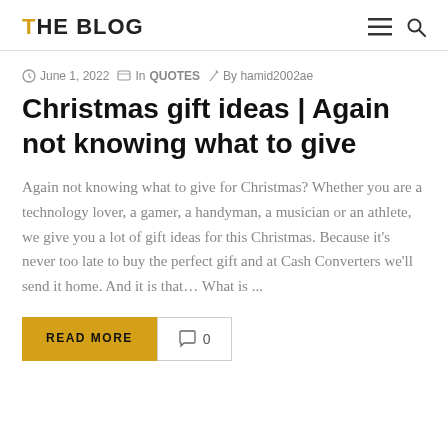THE BLOG
June 1, 2022   In QUOTES   By hamid2002ae
Christmas gift ideas | Again not knowing what to give
Again not knowing what to give for Christmas? Whether you are a technology lover, a gamer, a handyman, a musician or an athlete, we give you a lot of gift ideas for this Christmas. Because it's never too late to buy the perfect gift and at Cash Converters we'll send it home. And it is that… What is ...
READ MORE   0